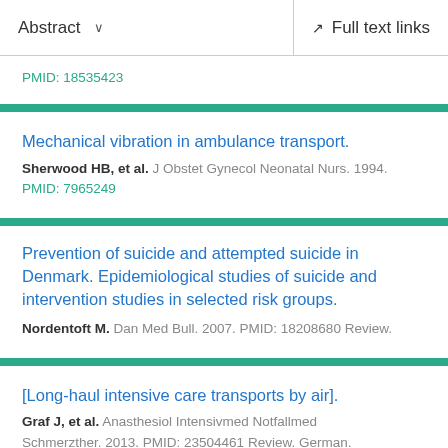Abstract   Full text links
PMID: 18535423
Mechanical vibration in ambulance transport.
Sherwood HB, et al. J Obstet Gynecol Neonatal Nurs. 1994.
PMID: 7965249
Prevention of suicide and attempted suicide in Denmark. Epidemiological studies of suicide and intervention studies in selected risk groups.
Nordentoft M. Dan Med Bull. 2007. PMID: 18208680 Review.
[Long-haul intensive care transports by air].
Graf J, et al. Anasthesiol Intensivmed Notfallmed Schmerzther. 2013. PMID: 23504461 Review. German.